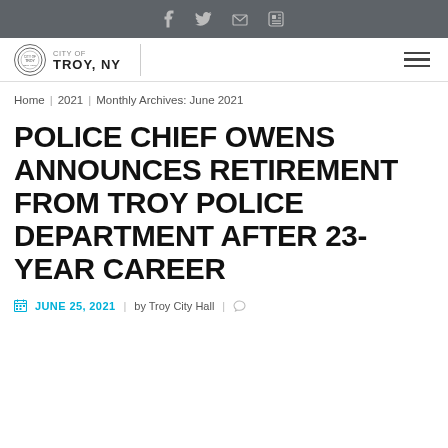Social media icons: Facebook, Twitter, Print, Email
[Figure (logo): City of Troy, NY official logo/seal with text TROY, NY]
Home | 2021 | Monthly Archives: June 2021
POLICE CHIEF OWENS ANNOUNCES RETIREMENT FROM TROY POLICE DEPARTMENT AFTER 23-YEAR CAREER
JUNE 25, 2021 | by Troy City Hall